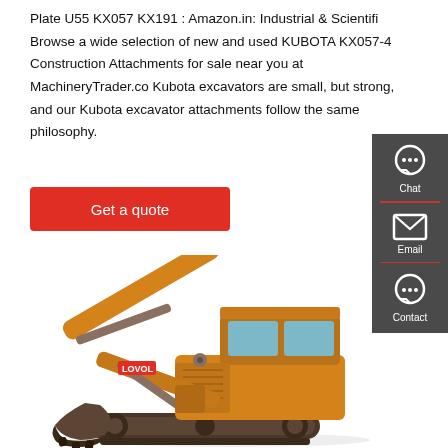Plate U55 KX057 KX191 : Amazon.in: Industrial & Scientifi Browse a wide selection of new and used KUBOTA KX057-4 Construction Attachments for sale near you at MachineryTrader.co Kubota excavators are small, but strong, and our Kubota excavator attachments follow the same philosophy.
[Figure (other): Red 'Get a quote' button]
[Figure (other): Right sidebar with Chat, Email, and Contact icons on dark grey background]
[Figure (photo): Yellow LOVOL mini excavator with bucket attachment, shown on white background]